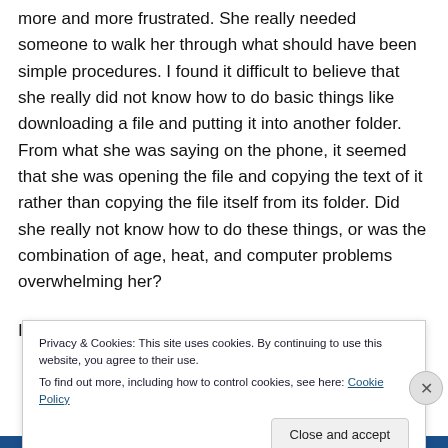more and more frustrated. She really needed someone to walk her through what should have been simple procedures. I found it difficult to believe that she really did not know how to do basic things like downloading a file and putting it into another folder. From what she was saying on the phone, it seemed that she was opening the file and copying the text of it rather than copying the file itself from its folder. Did she really not know how to do these things, or was the combination of age, heat, and computer problems overwhelming her?
I know she indicated she didn't want to share something...
Privacy & Cookies: This site uses cookies. By continuing to use this website, you agree to their use.
To find out more, including how to control cookies, see here: Cookie Policy